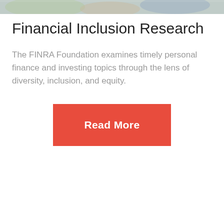[Figure (photo): A photo strip at the top of the page showing people in a group or meeting setting, partially visible.]
Financial Inclusion Research
The FINRA Foundation examines timely personal finance and investing topics through the lens of diversity, inclusion, and equity.
Read More